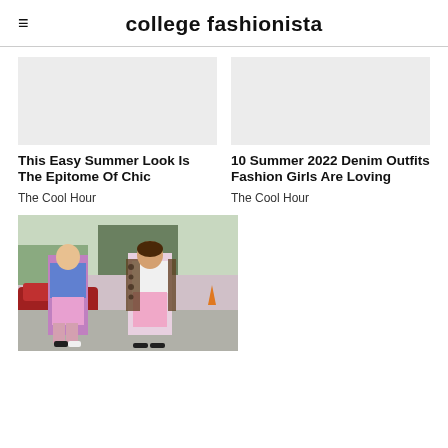college fashionista
[Figure (photo): Blank placeholder image area for first article (top left)]
[Figure (photo): Blank placeholder image area for second article (top right)]
This Easy Summer Look Is The Epitome Of Chic
The Cool Hour
10 Summer 2022 Denim Outfits Fashion Girls Are Loving
The Cool Hour
[Figure (photo): Street style photo showing two people in pink outfits walking on a city street, one in a floral blue top with pink shorts and one in a white top with pink wide-leg trousers and a leopard print jacket.]